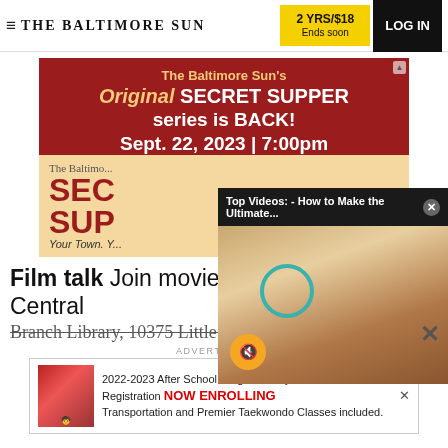THE BALTIMORE SUN | 2 YRS/$18 Ends soon | LOG IN
[Figure (screenshot): The Baltimore Sun Secret Supper advertisement banner — red background with text: The Baltimore Sun's Original SECRET SUPPER series is BACK! Sept. 22, 2023 | 7:00pm. Lower section beige with SEC SUP logo and Your Town. Y...]
[Figure (screenshot): Video popup overlay: Top Videos: - How to Make the Ultimate... with close X button. Below is a food image showing stacked sandwich/donut with mute button (orange circle with speaker icon), and a teal circular arrow icon on the food.]
Film talk Join movie aficionados at the Central
Branch Library, 10375 Little Patuxent Pkwy
ADVERTISEMENT
[Figure (screenshot): Bottom advertisement: 2022-2023 After School Program Early Bird Registration NOW ENROLLING Transportation and Premier Taekwondo Classes included. Woman with child image on left.]